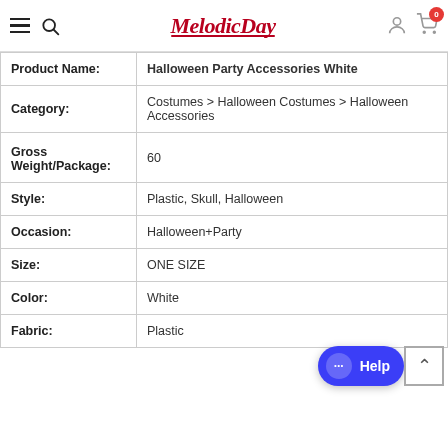MelodicDay - navigation header with hamburger menu, search icon, logo, user icon, and cart (0)
| Attribute | Value |
| --- | --- |
| Product Name: | Halloween Party Accessories White |
| Category: | Costumes > Halloween Costumes > Halloween Accessories |
| Gross Weight/Package: | 60 |
| Style: | Plastic, Skull, Halloween |
| Occasion: | Halloween+Party |
| Size: | ONE SIZE |
| Color: | White |
| Fabric: | Plastic |